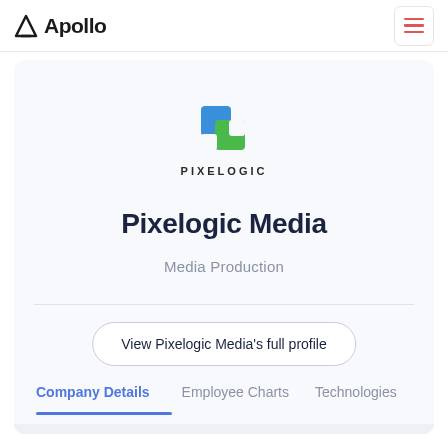Apollo
[Figure (logo): Pixelogic logo — a stylized square icon with blue and green colors, with text PIXELOGIC below]
Pixelogic Media
Media Production
View Pixelogic Media's full profile
Company Details   Employee Charts   Technologies